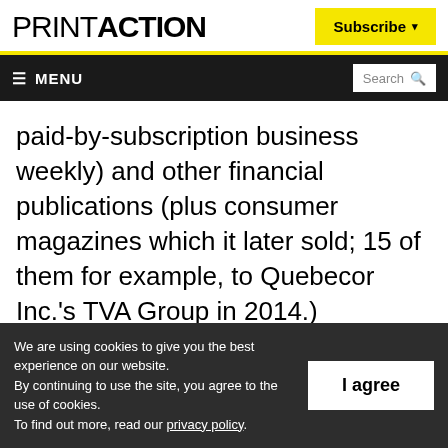PRINTACTION
Subscribe
MENU | Search
paid-by-subscription business weekly) and other financial publications (plus consumer magazines which it later sold; 15 of them for example, to Quebecor Inc.'s TVA Group in 2014.) Subsequent acquisitions since the 1980s by TC Media include 20 Telemedia weekly
We are using cookies to give you the best experience on our website.
By continuing to use the site, you agree to the use of cookies.
To find out more, read our privacy policy.
I agree